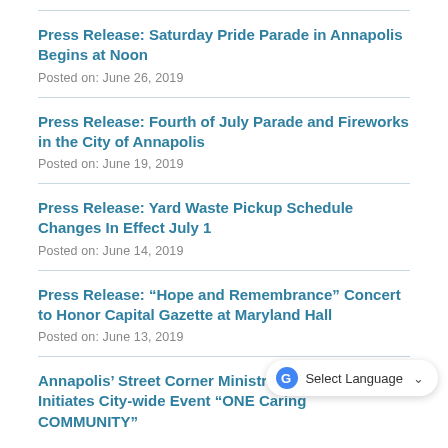Press Release: Saturday Pride Parade in Annapolis Begins at Noon
Posted on: June 26, 2019
Press Release: Fourth of July Parade and Fireworks in the City of Annapolis
Posted on: June 19, 2019
Press Release: Yard Waste Pickup Schedule Changes In Effect July 1
Posted on: June 14, 2019
Press Release: “Hope and Remembrance” Concert to Honor Capital Gazette at Maryland Hall
Posted on: June 13, 2019
Annapolis’ Street Corner Ministries Coalition Initiates City-wide Event “ONE Caring COMMUNITY”